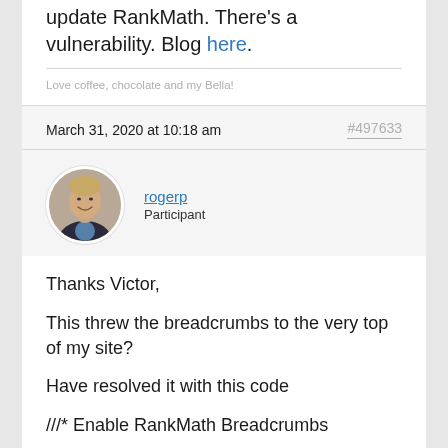update RankMath. There's a vulnerability. Blog here.
Love coffee, chocolate and my Bella!
March 31, 2020 at 10:18 am
#497633
[Figure (photo): Avatar photo of user rogerp, a man in a dark blazer and blue shirt, smiling]
rogerp
Participant
Thanks Victor,
This threw the breadcrumbs to the very top of my site?
Have resolved it with this code
///* Enable RankMath Breadcrumbs